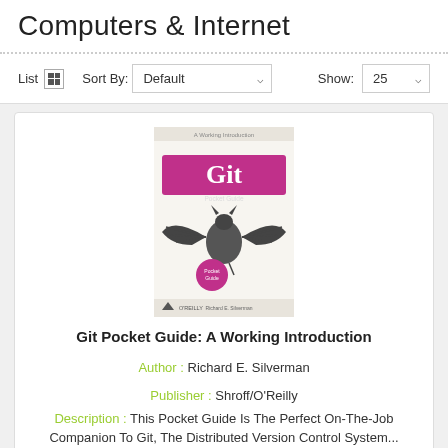Computers & Internet
List  Sort By: Default  Show: 25
[Figure (illustration): Book cover for Git Pocket Guide: A Working Introduction, O'Reilly, featuring a bat illustration and the Git logo on a pink/magenta banner]
Git Pocket Guide: A Working Introduction
Author : Richard E. Silverman
Publisher : Shroff/O'Reilly
Description : This Pocket Guide Is The Perfect On-The-Job Companion To Git, The Distributed Version Control System...